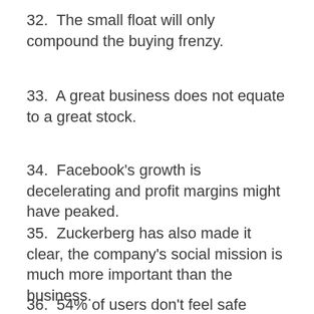32.  The small float will only compound the buying frenzy.
33.  A great business does not equate to a great stock.
34.  Facebook's growth is decelerating and profit margins might have peaked.
35.  Zuckerberg has also made it clear, the company's social mission is much more important than the business.
36.  54% of users don't feel safe using